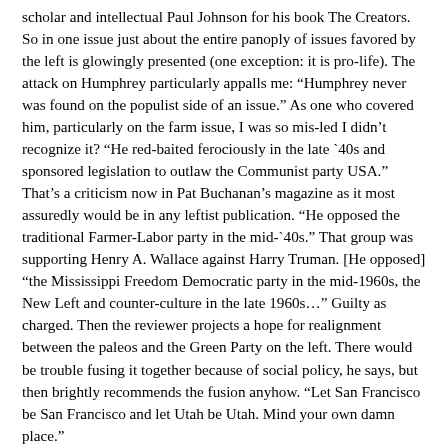scholar and intellectual Paul Johnson for his book The Creators. So in one issue just about the entire panoply of issues favored by the left is glowingly presented (one exception: it is pro-life). The attack on Humphrey particularly appalls me: “Humphrey never was found on the populist side of an issue.” As one who covered him, particularly on the farm issue, I was so mis-led I didn’t recognize it? “He red-baited ferociously in the late `40s and sponsored legislation to outlaw the Communist party USA.” That’s a criticism now in Pat Buchanan’s magazine as it most assuredly would be in any leftist publication. “He opposed the traditional Farmer-Labor party in the mid-`40s.” That group was supporting Henry A. Wallace against Harry Truman. [He opposed] “the Mississippi Freedom Democratic party in the mid-1960s, the New Left and counter-culture in the late 1960s…” Guilty as charged. Then the reviewer projects a hope for realignment between the paleos and the Green Party on the left. There would be trouble fusing it together because of social policy, he says, but then brightly recommends the fusion anyhow. “Let San Francisco be San Francisco and let Utah be Utah. Mind your own damn place.”
Wonderful. Elect the paleos and the Greens and let `er rip. To those who occasionally write here in defense of paleo-conservatism (and you’re welcome) what do you have to say about that? All that’s missing is an article by Kevin Phillips denouncing our theocracy-but he was in last month’s issue.